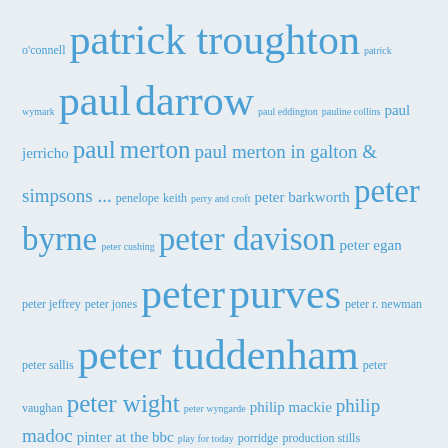[Figure (infographic): Tag cloud / word cloud of names and TV show titles in varying font sizes, all in blue text on a light blue-grey background. Names include: o'connell, patrick troughton, patrick wymark, paul darrow, paul eddington, pauline collins, paul jerricho, paul merton, paul merton in galton & simpsons ..., penelope keith, perry and croft, peter barkworth, peter byrne, peter cushing, peter davison, peter egan, peter jeffrey, peter jones, peter purves, peter r. newman, peter sallis, peter tuddenham, peter vaughan, peter wight, peter wyngarde, philip mackie, philip madoc, pinter at the bbc, play for today, porridge, production stills, public eye, quatermass, quatermass and the pit, quatermass ii, ralph bates, ray lonnen, raymond huntley, redcap, return of the saint, richard briers, richard carpenter, richard easton, richard griffiths, richard hurndall, robert barr, robert hardy, robert holmes, robert lang, robert powell, robert stephens, robin bailey, robin chadwick, robin of sherwood, roddy mcmillan, rod steiger, roger delgado, roger marshall, roger moore, roger parkes, ronald radd, ronnie barker, ronnie corbett, roy clarke, roy marsden, rudolph cartier, rupert davies, russell hunter, sally knyvette, sam kelly, sapphire & steel, sarah-jane varley, sarah sutton]